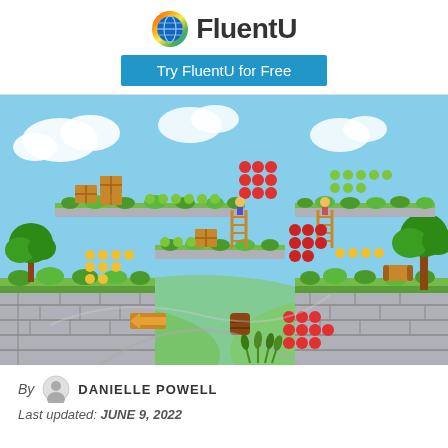[Figure (logo): FluentU logo with globe icon and rainbow-colored ring, bold text reading FluentU]
[Figure (other): Blue button with white text reading Try FluentU for Free]
[Figure (illustration): A colorful 2D side-scroller video game scene with platforms, trees, wooden crates, ladders, fruits (apples, cherries, tomatoes), barrels, and an arrow sign, set against a blue sky with clouds and green hills]
By DANIELLE POWELL
Last updated: JUNE 9, 2022